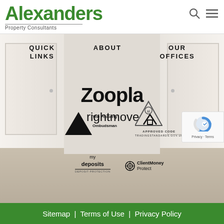Alexanders Property Consultants
[Figure (screenshot): Website screenshot showing Alexanders Property Consultants navigation page with open door background image. Navigation links: QUICK LINKS, ABOUT, OUR OFFICES. Partner logos: Zoopla, rightmove, The Property Ombudsman, Approved Code Trading Standards, my deposits Deposit Protection, ClientMoney Protect. reCAPTCHA badge visible.]
Sitemap | Terms of Use | Privacy Policy